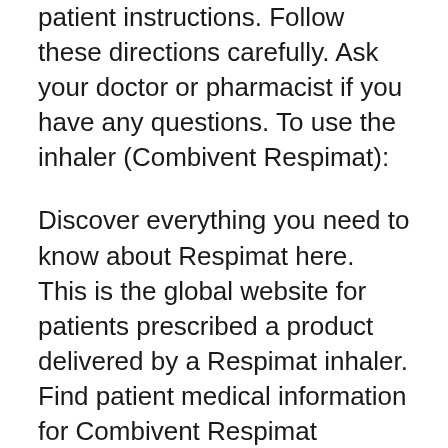patient instructions. Follow these directions carefully. Ask your doctor or pharmacist if you have any questions. To use the inhaler (Combivent Respimat):
Discover everything you need to know about Respimat here. This is the global website for patients prescribed a product delivered by a Respimat inhaler. Find patient medical information for Combivent Respimat Inhalation on WebMD including its uses, side effects and safety, interactions, pictures, warnings and user ratings.
COMBIVENT RESPIMAT is contraindicated in patients